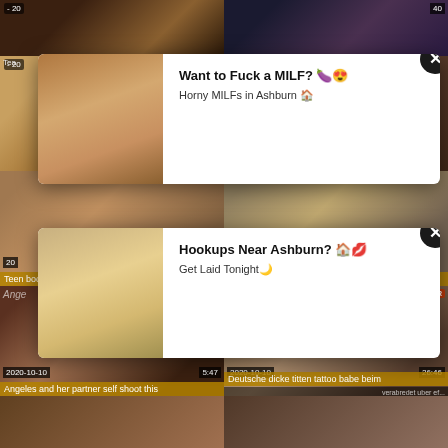[Figure (screenshot): Video thumbnail grid showing adult content website with popup ads. Top row: two video thumbnails. Row 2: two video thumbnails partially obscured by a white popup ad reading 'Want to Fuck a MILF? Horny MILFs in Ashburn' with close button. Row 3: two video thumbnails partially obscured by a second white popup ad reading 'Hookups Near Ashburn? Get Laid Tonight' with close button. Row 4 labels: 'Teen booty Proving Papa Wrong' and 'Uraraka and Momo 3some fuck'. Row 5: two video thumbnails with dates 2020-10-10 and durations 5:47 and 26:46. Labels: 'Angeles and her partner self shoot this' and 'Deutsche dicke titten tattoo babe beim'. Partial row 6 at bottom.]